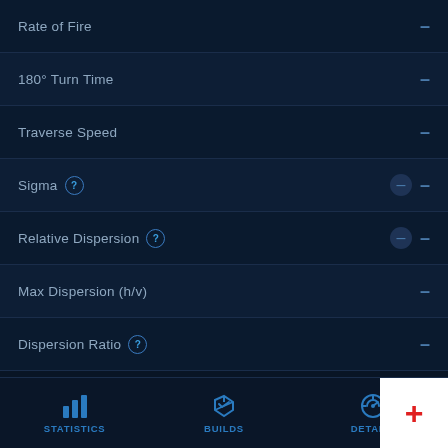Rate of Fire –
180° Turn Time –
Traverse Speed –
Sigma ? ⊖ –
Relative Dispersion ? ⊖ –
Max Dispersion (h/v) –
Dispersion Ratio ? –
HE Shell
Max Damage –
Alpha Strike ? ⊖ –
DPM ? ⊖ –
STATISTICS  BUILDS  DETAILS